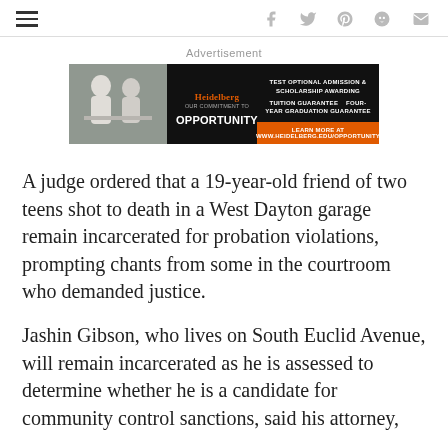Navigation header with hamburger menu and social icons (Facebook, Twitter, Pinterest, Reddit, Email)
Advertisement
[Figure (other): Heidelberg University advertisement banner: 'Our Commitment to Opportunity' with text about test optional admission, scholarship awarding, tuition guarantee, four-year graduation guarantee. URL: www.heidelberg.edu/opportunity]
A judge ordered that a 19-year-old friend of two teens shot to death in a West Dayton garage remain incarcerated for probation violations, prompting chants from some in the courtroom who demanded justice.
Jashin Gibson, who lives on South Euclid Avenue, will remain incarcerated as he is assessed to determine whether he is a candidate for community control sanctions, said his attorney,